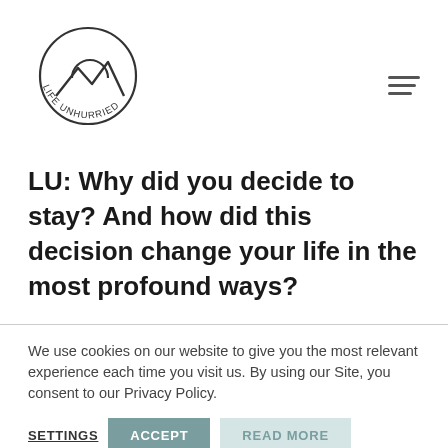[Figure (logo): Life Unhurried circular logo with mountain silhouette and semicircle above, text 'LIFE UNHURRIED' curved around the bottom]
LU: Why did you decide to stay? And how did this decision change your life in the most profound ways?
We use cookies on our website to give you the most relevant experience each time you visit us. By using our Site, you consent to our Privacy Policy.
SETTINGS  ACCEPT  READ MORE